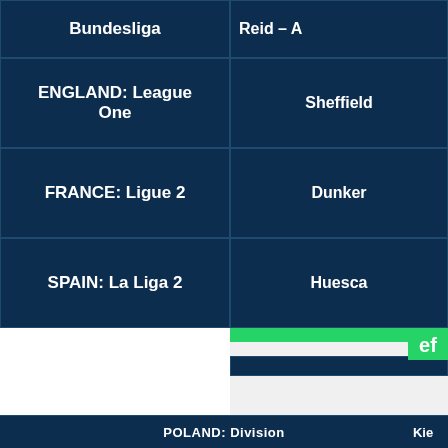[Figure (screenshot): Screenshot of a sports betting website showing a table with football leagues (Bundesliga, ENGLAND: League One, FRANCE: Ligue 2, SPAIN: La Liga 2) alongside partial match/team information. A WhatsApp chat popup overlays the bottom half, with header showing WhatsApp logo and name, a message bubble saying 'Hello / How can we help you with fixed matches?', and an 'Open chat' button. A partial footer row shows 'POLAND: Division' and 'Kie...'.]